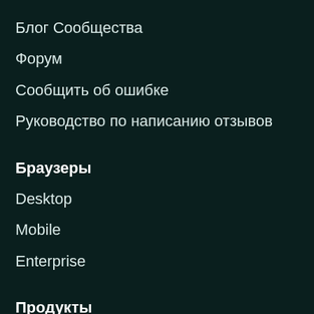Блог Сообщества
Форум
Сообщить об ошибке
Руководство по написанию отзывов
Браузеры
Desktop
Mobile
Enterprise
Продукты
Browsers
VPN